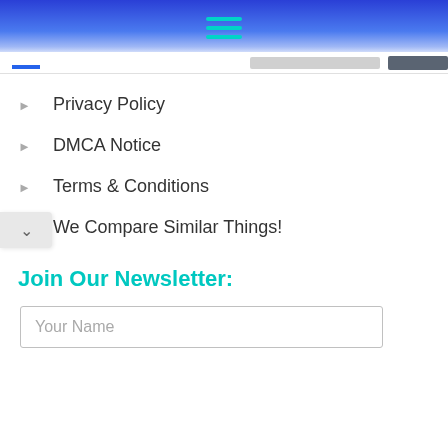[Figure (screenshot): Website navigation header with blue gradient background and teal hamburger menu icon]
Privacy Policy
DMCA Notice
Terms & Conditions
We Compare Similar Things!
Join Our Newsletter:
Your Name